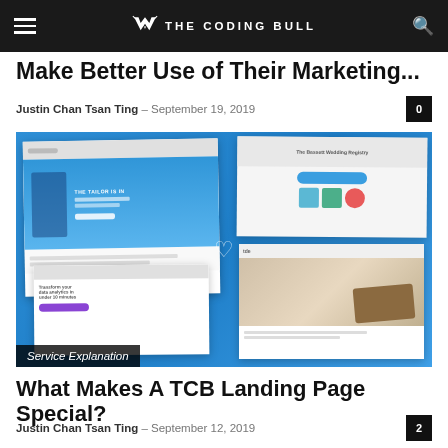THE CODING BULL
Make Better Use of Their Marketing...
Justin Chan Tsan Ting - September 19, 2019
[Figure (screenshot): Collection of landing page website design screenshots on a blue background, with a 'Service Explanation' tag overlay]
Service Explanation
What Makes A TCB Landing Page Special?
Justin Chan Tsan Ting - September 12, 2019